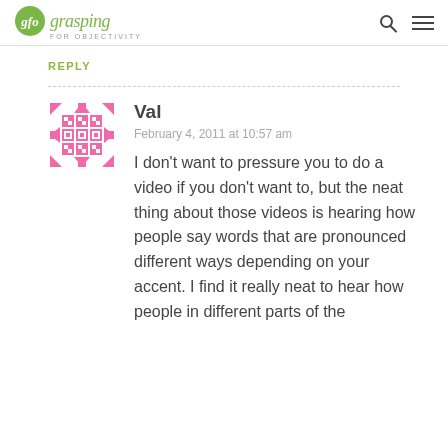gfo grasping FOR OBJECTIVITY
REPLY
[Figure (illustration): Pink pixelated avatar icon for commenter Val]
Val
February 4, 2011 at 10:57 am
I don't want to pressure you to do a video if you don't want to, but the neat thing about those videos is hearing how people say words that are pronounced different ways depending on your accent. I find it really neat to hear how people in different parts of the